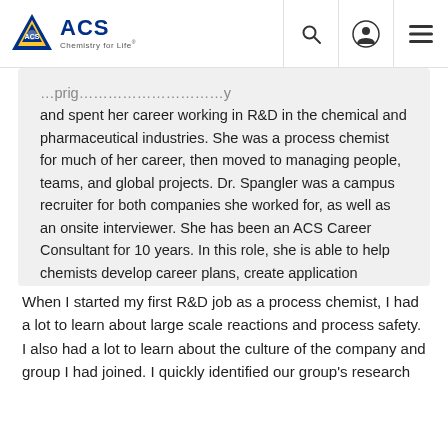ACS Chemistry for Life
and spent her career working in R&D in the chemical and pharmaceutical industries. She was a process chemist for much of her career, then moved to managing people, teams, and global projects. Dr. Spangler was a campus recruiter for both companies she worked for, as well as an onsite interviewer. She has been an ACS Career Consultant for 10 years. In this role, she is able to help chemists develop career plans, create application documents, and practice interviewing skills.
When I started my first R&D job as a process chemist, I had a lot to learn about large scale reactions and process safety. I also had a lot to learn about the culture of the company and group I had joined. I quickly identified our group's research